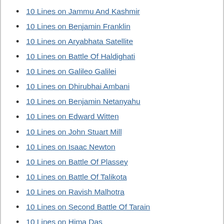10 Lines on Jammu And Kashmir
10 Lines on Benjamin Franklin
10 Lines on Aryabhata Satellite
10 Lines on Battle Of Haldighati
10 Lines on Galileo Galilei
10 Lines on Dhirubhai Ambani
10 Lines on Benjamin Netanyahu
10 Lines on Edward Witten
10 Lines on John Stuart Mill
10 Lines on Isaac Newton
10 Lines on Battle Of Plassey
10 Lines on Battle Of Talikota
10 Lines on Ravish Malhotra
10 Lines on Second Battle Of Tarain
10 Lines on Hima Das
10 Lines on Battle Of Kannauj
10 Lines on Second Battle Of Panipat
10 Lines on Michelangelo
10 Lines on Michael Faraday
10 Lines on Battle Of Tughlagabad